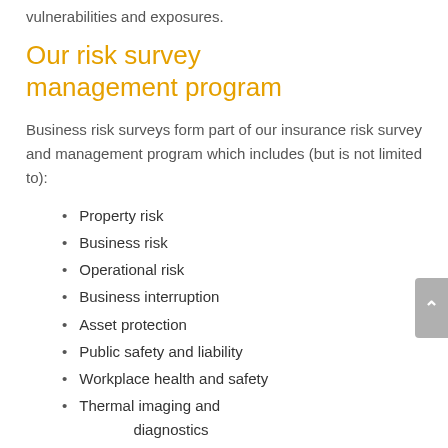vulnerabilities and exposures.
Our risk survey management program
Business risk surveys form part of our insurance risk survey and management program which includes (but is not limited to):
Property risk
Business risk
Operational risk
Business interruption
Asset protection
Public safety and liability
Workplace health and safety
Thermal imaging and diagnostics